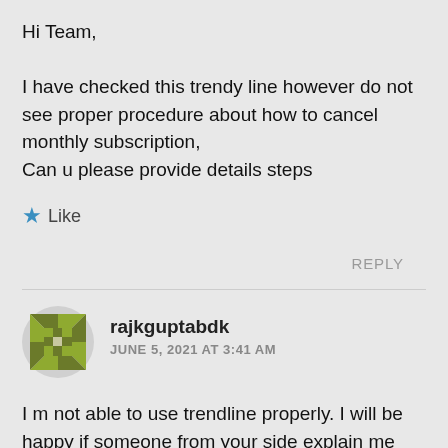Hi Team,

I have checked this trendy line however do not see proper procedure about how to cancel monthly subscription,
Can u please provide details steps
Like
REPLY
rajkguptabdk
JUNE 5, 2021 AT 3:41 AM
I m not able to use trendline properly. I will be happy if someone from your side explain me the proper method of